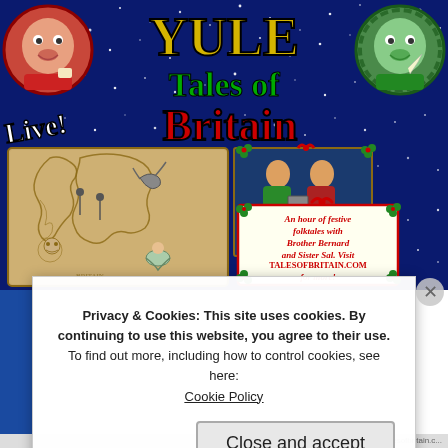[Figure (illustration): Yule Tales of Britain LIVE! event poster with dark blue starry background, cartoon characters, old map of Britain, performers photo, and festive info box]
Privacy & Cookies: This site uses cookies. By continuing to use this website, you agree to their use.
To find out more, including how to control cookies, see here: Cookie Policy
Close and accept